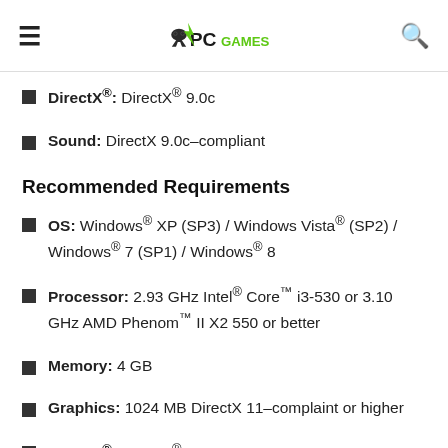PC Games
DirectX®: DirectX® 9.0c
Sound: DirectX 9.0c–compliant
Recommended Requirements
OS: Windows® XP (SP3) / Windows Vista® (SP2) / Windows® 7 (SP1) / Windows® 8
Processor: 2.93 GHz Intel® Core™ i3-530 or 3.10 GHz AMD Phenom™ II X2 550 or better
Memory: 4 GB
Graphics: 1024 MB DirectX 11–complaint or higher
DirectX®: DirectX® 11